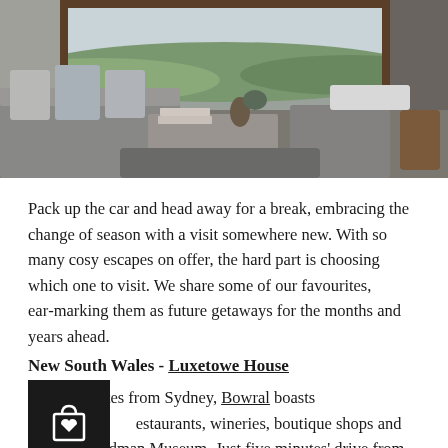[Figure (photo): Interior of a modern luxury lounge/living room with large grey sofas and cushions, coffee table with books, and floor-to-ceiling windows opening to a scenic green hillside landscape.]
Pack up the car and head away for a break, embracing the change of season with a visit somewhere new. With so many cosy escapes on offer, the hard part is choosing which one to visit. We share some of our favourites, ear-marking them as future getaways for the months and years ahead.
New South Wales - Luxetowe House
On [icon] nutes from Sydney, Bowral boasts award-wi[icon]estaurants, wineries, boutique shops and the Don Bradman Museum. Just five minutes' drive from the town centre is Luxetowe House, a historic cottage filled with